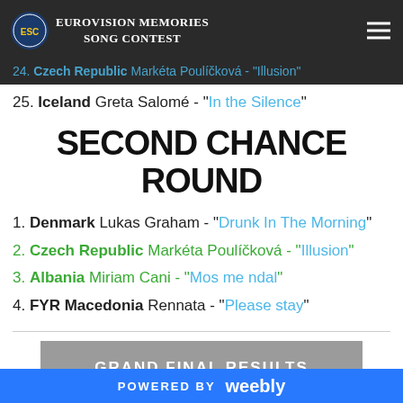Eurovision Memories Song Contest
25. Czech Republic Markéta Poulíčková - "Illusion" (partially visible above)
25. Iceland Greta Salomé - "In the Silence"
SECOND CHANCE ROUND
1. Denmark Lukas Graham - "Drunk In The Morning"
2. Czech Republic Markéta Poulíčková - "Illusion"
3. Albania Miriam Cani - "Mos me ndal"
4. FYR Macedonia Rennata - "Please stay"
GRAND FINAL RESULTS
POWERED BY weebly